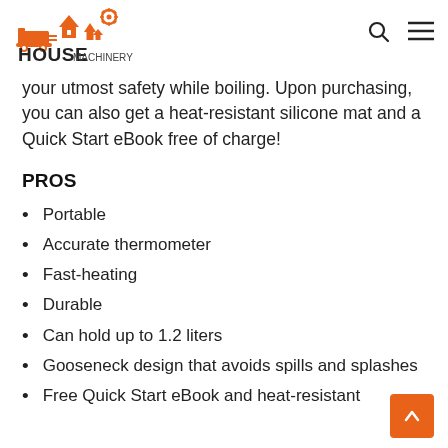HOUSE MACHINERY
your utmost safety while boiling. Upon purchasing, you can also get a heat-resistant silicone mat and a Quick Start eBook free of charge!
PROS
Portable
Accurate thermometer
Fast-heating
Durable
Can hold up to 1.2 liters
Gooseneck design that avoids spills and splashes
Free Quick Start eBook and heat-resistant